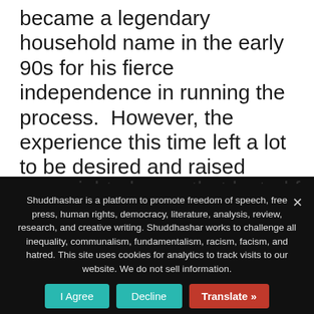became a legendary household name in the early 90s for his fierce independence in running the process.  However, the experience this time left a lot to be desired and raised many questions about the independence of this unit.  Many of their actions raised doubts among independent observers that they were perhaps acting as a political arm of the BJP.  In the time of Covid, they organized an election spread over eight phases that lasted from the end
Shuddhashar is a platform to promote freedom of speech, free press, human rights, democracy, literature, analysis, review, research, and creative writing. Shuddhashar works to challenge all inequality, communalism, fundamentalism, racism, facism, and hatred. This site uses cookies for analytics to track visits to our website. We do not sell information.